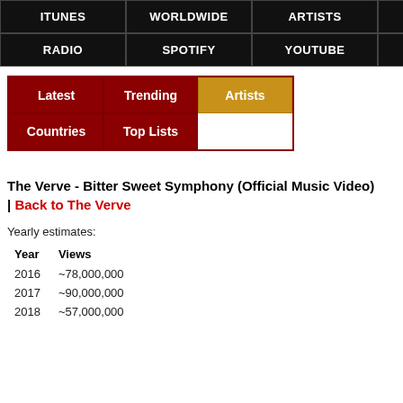ITUNES | WORLDWIDE | ARTISTS | RADIO | SPOTIFY | YOUTUBE
[Figure (screenshot): Navigation menu with Latest, Trending, Artists (highlighted in gold), Countries, Top Lists buttons]
The Verve - Bitter Sweet Symphony (Official Music Video) | Back to The Verve
Yearly estimates:
| Year | Views |
| --- | --- |
| 2016 | ~78,000,000 |
| 2017 | ~90,000,000 |
| 2018 | ~57,000,000 |